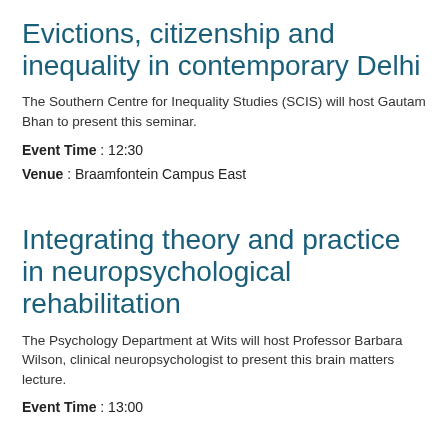Evictions, citizenship and inequality in contemporary Delhi
The Southern Centre for Inequality Studies (SCIS) will host Gautam Bhan to present this seminar.
Event Time : 12:30
Venue : Braamfontein Campus East
Integrating theory and practice in neuropsychological rehabilitation
The Psychology Department at Wits will host Professor Barbara Wilson, clinical neuropsychologist to present this brain matters lecture.
Event Time : 13:00